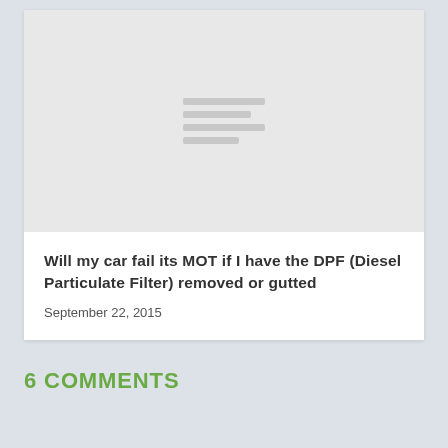[Figure (illustration): Placeholder image with light gray background and four horizontal gray lines of varying widths centered in the image area]
Will my car fail its MOT if I have the DPF (Diesel Particulate Filter) removed or gutted
September 22, 2015
6 COMMENTS